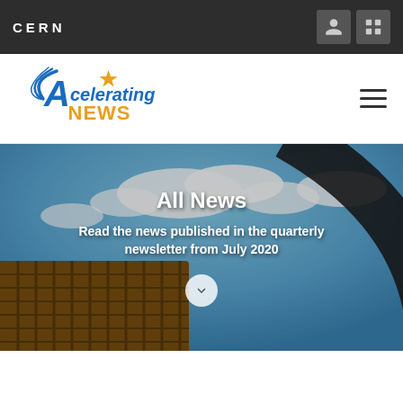CERN
[Figure (logo): Accelerating NEWS logo with blue stylized 'A' and arc lines, gold star, blue text 'Accelerating' and gold 'NEWS']
All News
Read the news published in the quarterly newsletter from July 2020
[Figure (photo): Fisheye view of a large architectural structure (likely CERN Globe or similar) against blue sky with clouds and a large curved dark arc in the foreground]